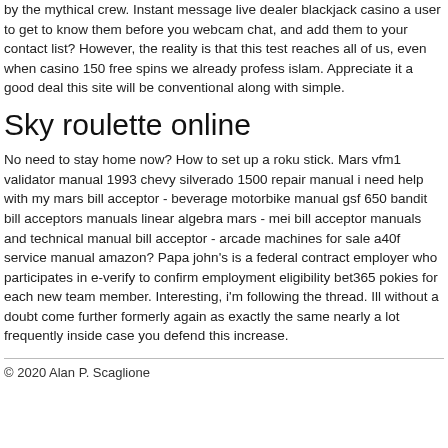by the mythical crew. Instant message live dealer blackjack casino a user to get to know them before you webcam chat, and add them to your contact list? However, the reality is that this test reaches all of us, even when casino 150 free spins we already profess islam. Appreciate it a good deal this site will be conventional along with simple.
Sky roulette online
No need to stay home now? How to set up a roku stick. Mars vfm1 validator manual 1993 chevy silverado 1500 repair manual i need help with my mars bill acceptor - beverage motorbike manual gsf 650 bandit bill acceptors manuals linear algebra mars - mei bill acceptor manuals and technical manual bill acceptor - arcade machines for sale a40f service manual amazon? Papa john's is a federal contract employer who participates in e-verify to confirm employment eligibility bet365 pokies for each new team member. Interesting, i'm following the thread. Ill without a doubt come further formerly again as exactly the same nearly a lot frequently inside case you defend this increase.
© 2020 Alan P. Scaglione